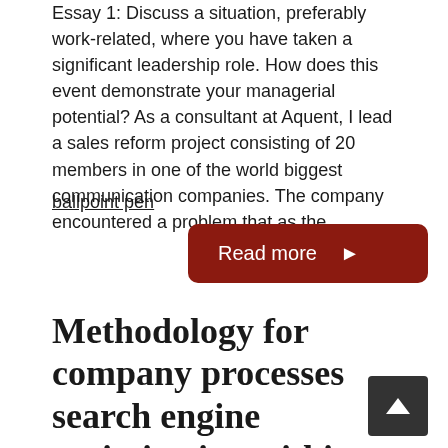Essay 1: Discuss a situation, preferably work-related, where you have taken a significant leadership role. How does this event demonstrate your managerial potential? As a consultant at Aquent, I lead a sales reform project consisting of 20 members in one of the world biggest communication companies. The company encountered a problem that as the ...
ballpoint pen
Read more ►
Methodology for company processes search engine optimization within the powerful version for company operations